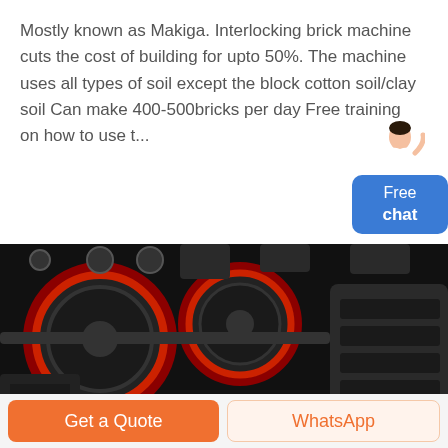Mostly known as Makiga. Interlocking brick machine cuts the cost of building for upto 50%. The machine uses all types of soil except the block cotton soil/clay soil Can make 400-500bricks per day Free training on how to use t...
[Figure (photo): Dark industrial machinery with large red and black rollers/wheels with XME branding visible, appears to be a stone crushing or brick-making machine]
Get a Quote
WhatsApp